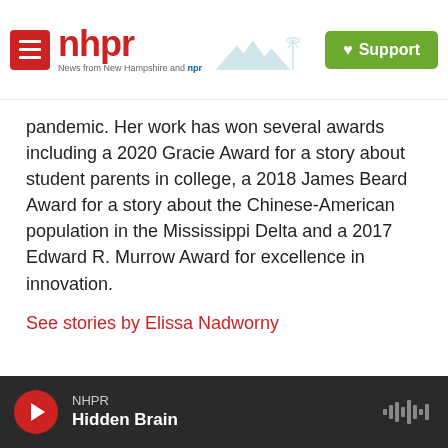[Figure (logo): NHPR logo with hamburger menu and Support button header navigation bar]
pandemic. Her work has won several awards including a 2020 Gracie Award for a story about student parents in college, a 2018 James Beard Award for a story about the Chinese-American population in the Mississippi Delta and a 2017 Edward R. Murrow Award for excellence in innovation.
See stories by Elissa Nadworny
NHPR Hidden Brain